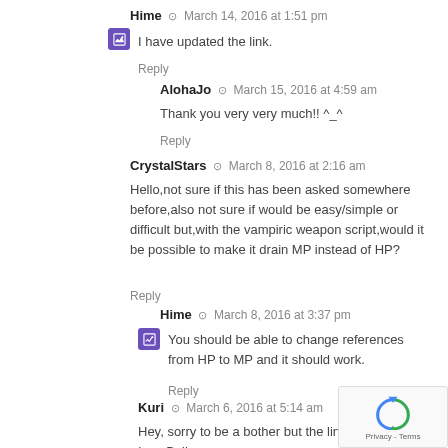Hime · March 14, 2016 at 1:51 pm
I have updated the link.
Reply
AlohaJo · March 15, 2016 at 4:59 am
Thank you very very much!! ^_^
Reply
CrystalStars · March 8, 2016 at 2:16 am
Hello,not sure if this has been asked somewhere before,also not sure if would be easy/simple or difficult but,with the vampiric weapon script,would it be possible to make it drain MP instead of HP?
Reply
Hime · March 8, 2016 at 3:37 pm
You should be able to change references from HP to MP and it should work.
Reply
Kuri · March 6, 2016 at 5:14 am
Hey, sorry to be a bother but the link for the Icon Balloons